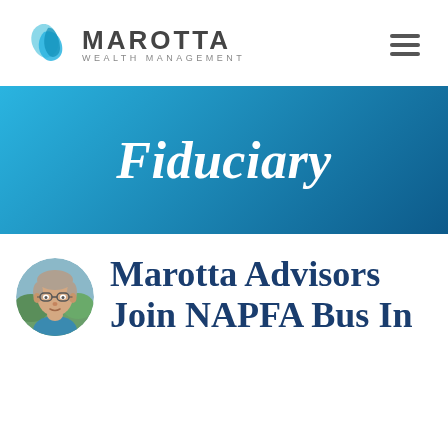[Figure (logo): Marotta Wealth Management logo with teal bird/wave icon and company name]
Fiduciary
[Figure (photo): Circular headshot photo of a middle-aged man with glasses, outdoors background]
Marotta Advisors Join NAPFA Bus In